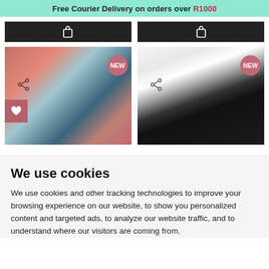Free Courier Delivery on orders over R1000
[Figure (screenshot): Two product listing cards each with a black cart bar showing a shopping bag icon, a product image of activewear leggings, a NEW badge, and a share icon. The left card also has a heart/wishlist button.]
We use cookies
We use cookies and other tracking technologies to improve your browsing experience on our website, to show you personalized content and targeted ads, to analyze our website traffic, and to understand where our visitors are coming from.